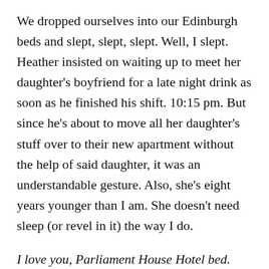We dropped ourselves into our Edinburgh beds and slept, slept, slept. Well, I slept. Heather insisted on waiting up to meet her daughter's boyfriend for a late night drink as soon as he finished his shift. 10:15 pm. But since he's about to move all her daughter's stuff over to their new apartment without the help of said daughter, it was an understandable gesture. Also, she's eight years younger than I am. She doesn't need sleep (or revel in it) the way I do.
I love you, Parliament House Hotel bed. You get a 4.5 out of 5. You could teach that sticky toffee pudding a thing or